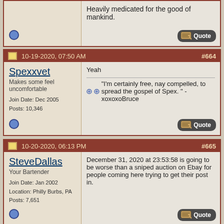Heavily medicated for the good of mankind.
10-19-2020, 07:50 AM  #664
Spexxvet
Makes some feel uncomfortable
Join Date: Dec 2005
Posts: 10,346
Yeah
"I'm certainly free, nay compelled, to spread the gospel of Spex. " - xoxoxoBruce
10-20-2020, 06:13 PM  #665
SteveDallas
Your Bartender
Join Date: Jan 2002
Location: Philly Burbs, PA
Posts: 7,651
December 31, 2020 at 23:53:58 is going to be worse than a sniped auction on Ebay for people coming here trying to get their post in.
10-20-2020, 06:14 PM  #666
Dude111
An Awesome Dude
Join Date: Oct 2015
Posts: 1,111
Its sad.........